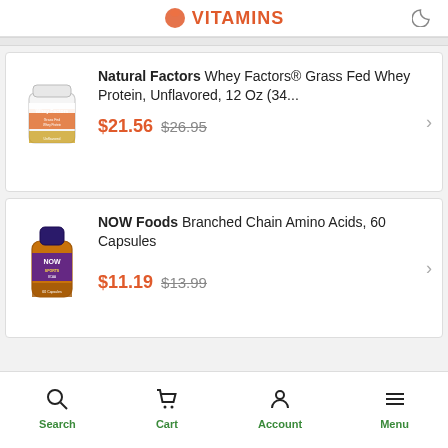VITAMINS
[Figure (photo): Natural Factors Whey Factors whey protein powder jar, white label with orange accent]
Natural Factors Whey Factors® Grass Fed Whey Protein, Unflavored, 12 Oz (34... $21.56 $26.95
[Figure (photo): NOW Foods supplement bottle, amber/orange bottle with dark blue cap and purple label]
NOW Foods Branched Chain Amino Acids, 60 Capsules $11.19 $13.99
Search  Cart  Account  Menu